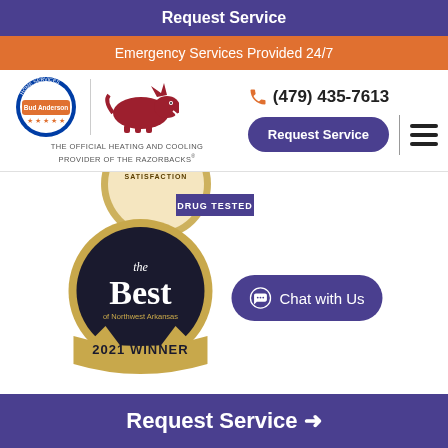Request Service
Emergency Services Provided 24/7
[Figure (logo): Bud Anderson Home Services logo with Razorbacks logo and tagline: THE OFFICIAL HEATING AND COOLING PROVIDER OF THE RAZORBACKS]
(479) 435-7613
Request Service
[Figure (illustration): Partial satisfaction/drug tested badge at top of content area]
[Figure (illustration): The Best of Northwest Arkansas 2021 Winner award badge]
Chat with Us
Request Service →